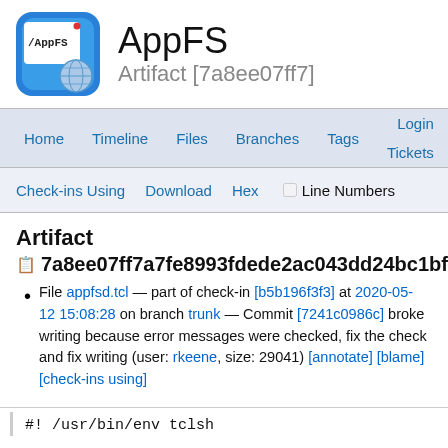[Figure (logo): AppFS application logo: blue rounded square icon with /AppFS text and globe, followed by AppFS title and 'Artifact [7a8ee07ff7]' subtitle]
Home  Timeline  Files  Branches  Tags  Login  Tickets
Check-ins Using  Download  Hex  Line Numbers
Artifact
7a8ee07ff7a7fe8993fdede2ac043dd24bc1bf71:
File appfsd.tcl — part of check-in [b5b196f3f3] at 2020-05-12 15:08:28 on branch trunk — Commit [7241c0986c] broke writing because error messages were checked, fix the check and fix writing (user: rkeene, size: 29041) [annotate] [blame] [check-ins using]
#! /usr/bin/env tclsh